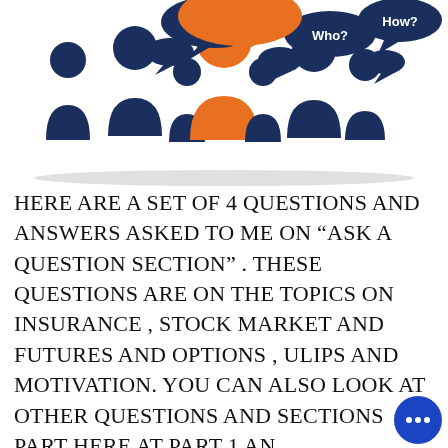[Figure (illustration): Illustration of multiple dark navy blue silhouetted people figures with speech bubbles labeled 'What?', 'Who?', 'How?' and one central orange figure with a large orange speech bubble, representing Q&A or questions and answers concept.]
HERE ARE A SET OF 4 QUESTIONS AND ANSWERS ASKED TO ME ON “ASK A QUESTION SECTION” . THESE QUESTIONS ARE ON THE TOPICS ON INSURANCE , STOCK MARKET AND FUTURES AND OPTIONS , ULIPS AND MOTIVATION. YOU CAN ALSO LOOK AT OTHER QUESTIONS AND SECTIONS PART HERE AT PART 1 AN...